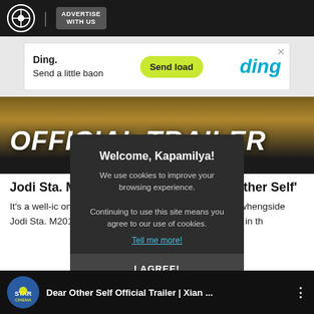ABS-CBN | ADVERTISE WITH US
[Figure (screenshot): Ad banner for Ding service: 'Ding. Send a little baon' with 'Send load' button and Ding logo]
[Figure (screenshot): Video thumbnail showing 'OFFICIAL TRAILER' text over a dark/golden background]
Jodi Sta. Maria and Xian Lim in 'Dear Other Self'
It's a well- ic onscreen friend Kim Chiu. So it ory for Xian whe ngside Jodi Sta. M 2017 rom-com. It's a s seemingly oreign land in th
[Figure (screenshot): Cookie consent modal with title 'Welcome, Kapamilya!', message about cookies, 'Tell me more!' link, and 'I AGREE!' button]
[Figure (screenshot): Bottom video thumbnail: 'Dear Other Self Official Trailer | Xian ...' with Star Cinema logo]